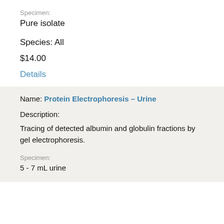Specimen:
Pure isolate
Species: All
$14.00
Details
Name: Protein Electrophoresis – Urine
Description:
Tracing of detected albumin and globulin fractions by gel electrophoresis.
Specimen:
5 - 7 mL urine